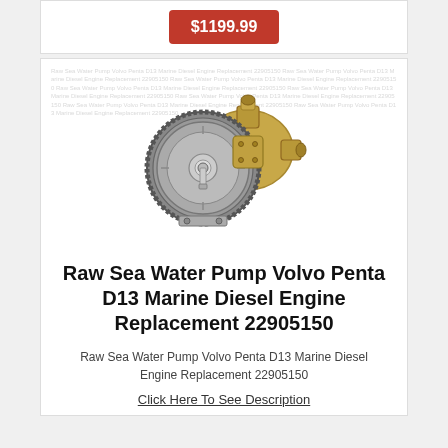$1199.99
[Figure (photo): Raw Sea Water Pump for Volvo Penta D13 Marine Diesel Engine - a brass/bronze pump body with a large gear/impeller wheel on the front, metal housing with circular ports]
Raw Sea Water Pump Volvo Penta D13 Marine Diesel Engine Replacement 22905150
Raw Sea Water Pump Volvo Penta D13 Marine Diesel Engine Replacement 22905150
Click Here To See Description